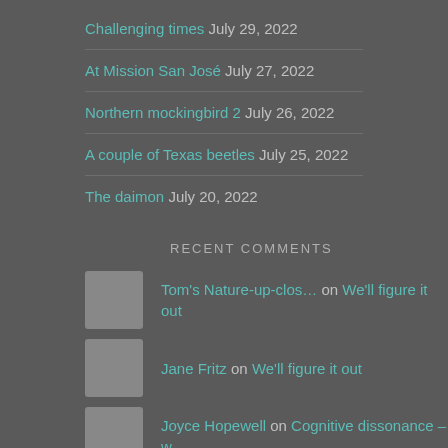Challenging times July 29, 2022
At Mission San José July 27, 2022
Northern mockingbird 2 July 26, 2022
A couple of Texas beetles July 25, 2022
The daimon July 20, 2022
RECENT COMMENTS
Tom's Nature-up-clos… on We'll figure it out
Jane Fritz on We'll figure it out
Joyce Hopewell on Cognitive dissonance – w